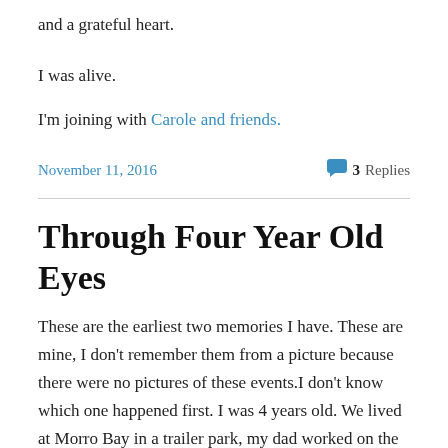and a grateful heart.
I was alive.
I'm joining with Carole and friends.
November 11, 2016    3 Replies
Through Four Year Old Eyes
These are the earliest two memories I have. These are mine, I don't remember them from a picture because there were no pictures of these events.I don't know which one happened first. I was 4 years old. We lived at Morro Bay in a trailer park, my dad worked on the steam plant as an iron worker. At least three uncles worked there also, Uncle Billy Ripley, Uncle Cecil Ripley, and Uncle Richard Topper